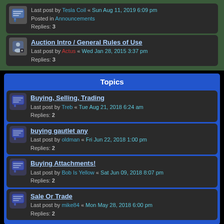Last post by Tesla Coil « Sun Aug 11, 2019 6:09 pm
Posted in Announcements
Replies: 3
Auction Intro / General Rules of Use
Last post by Actus « Wed Jan 28, 2015 3:37 pm
Replies: 3
Topics
Buying, Selling, Trading
Last post by Treb « Tue Aug 21, 2018 6:24 am
Replies: 2
buying gautlet any
Last post by oldman « Fri Jun 22, 2018 1:00 pm
Replies: 2
Buying Attachments!
Last post by Bob Is Yellow « Sat Jun 09, 2018 8:07 pm
Replies: 2
Sale Or Trade
Last post by mike84 « Mon May 28, 2018 6:00 pm
Replies: 2
Display topics from previous: All Topics
Sort by Post time
Descending
Go